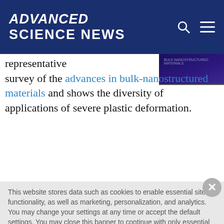ADVANCED SCIENCE NEWS
representative survey of the advances in bulk-nanostructured materials and shows the diversity of applications of severe plastic deformation.
[Figure (photo): Book cover image with dark blue/purple background]
This website stores data such as cookies to enable essential site functionality, as well as marketing, personalization, and analytics. You may change your settings at any time or accept the default settings. You may close this banner to continue with only essential cookies. Privacy Policy
Manage Preferences
Accept All
Reject All